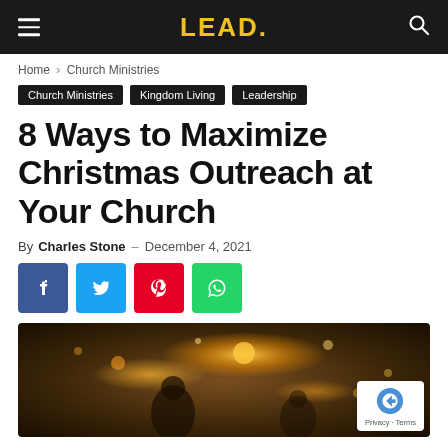LEAD.
Home › Church Ministries
Church Ministries  Kingdom Living  Leadership
8 Ways to Maximize Christmas Outreach at Your Church
By Charles Stone – December 4, 2021
[Figure (infographic): Social share buttons: Facebook (blue), Twitter (light blue), Pinterest (red), WhatsApp (green)]
[Figure (photo): Photo of people smiling outdoors with warm bokeh lights in background, Christmas atmosphere]